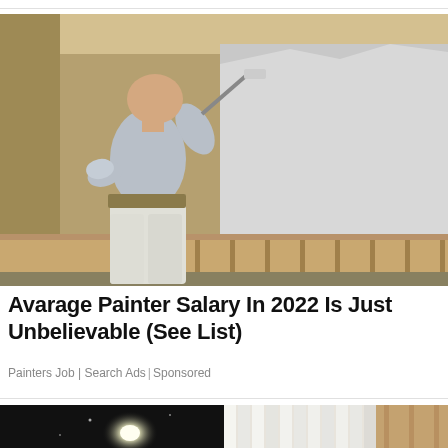[Figure (photo): A bald man wearing a light grey t-shirt and white pants uses a paint roller on a wall. He is painting a white section on a tan/brown wall. There is a wooden railing visible in the lower portion of the image.]
Avarage Painter Salary In 2022 Is Just Unbelievable (See List)
Painters Job | Search Ads | Sponsored
[Figure (photo): Left half: dark scene with a bright glowing light (possibly moon or lamp). Right half: light curtains or fabric panels in a bright room with brown wall panels visible.]